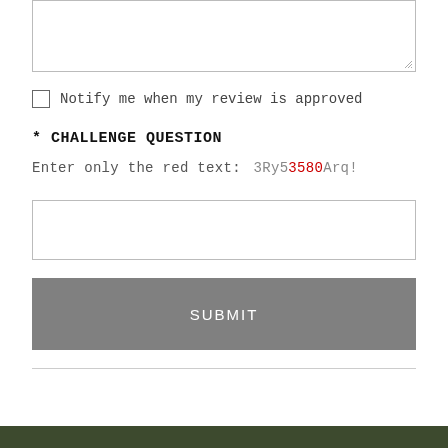[Figure (screenshot): Textarea input box (empty, with resize handle in bottom-right corner)]
Notify me when my review is approved
* CHALLENGE QUESTION
Enter only the red text:  3Ry53580Arq!
[Figure (screenshot): Text input box for challenge answer (empty)]
SUBMIT